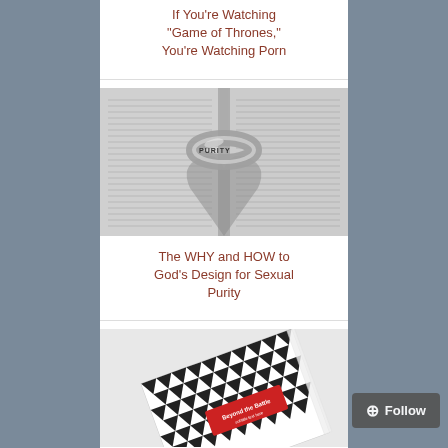If You're Watching "Game of Thrones," You're Watching Porn
[Figure (photo): A silver ring engraved with the word PURITY resting on open Bible pages, casting a heart-shaped shadow.]
The WHY and HOW to God's Design for Sexual Purity
[Figure (photo): A book with a black and white geometric triangle pattern cover, with a red label in the center, lying at an angle on a light surface.]